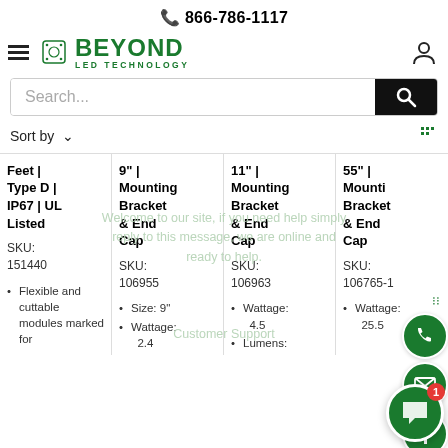📞 866-786-1117
[Figure (logo): Beyond LED Technology logo with hamburger menu and user icon]
Search...
Sort by
| Feet | Type D | IP67 | UL Listed | 9" | Mounting Bracket & End Cap | 11" | Mounting Bracket & End Cap | 55" | Mounting Bracket & End Cap |
| --- | --- | --- | --- |
| SKU: 151440 | SKU: 106955 | SKU: 106963 | SKU: 106765-1 |
| • Flexible and cuttable modules marked for | • Size: 9"
• Wattage: 2.4 | • Wattage: 4.5
• Lumens: | • Wattage: 25.5 |